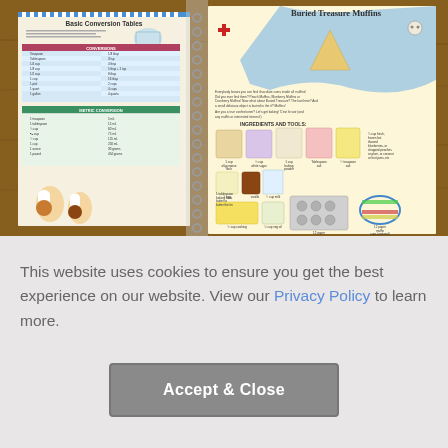[Figure (photo): A photograph of an open spiral-bound children's cookbook lying on a wooden table. The left page shows 'Basic Conversion Tables' with measurement tables and colorful conversion charts. The right page shows 'Buried Treasure Muffins' recipe with illustrated ingredients and tools including measuring cups, spoons, bowls, muffin tin, and various ingredients.]
This website uses cookies to ensure you get the best experience on our website. View our Privacy Policy to learn more.
Accept & Close